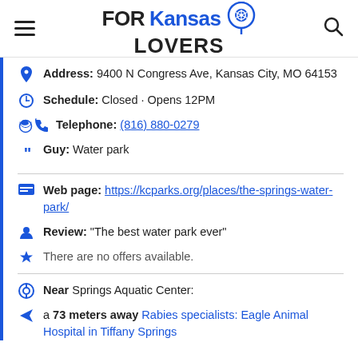FOR Kansas LOVERS
Address: 9400 N Congress Ave, Kansas City, MO 64153
Schedule: Closed · Opens 12PM
Telephone: (816) 880-0279
Guy: Water park
Web page: https://kcparks.org/places/the-springs-water-park/
Review: "The best water park ever"
There are no offers available.
Near Springs Aquatic Center:
a 73 meters away Rabies specialists: Eagle Animal Hospital in Tiffany Springs